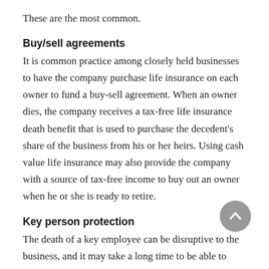These are the most common.
Buy/sell agreements
It is common practice among closely held businesses to have the company purchase life insurance on each owner to fund a buy-sell agreement. When an owner dies, the company receives a tax-free life insurance death benefit that is used to purchase the decedent’s share of the business from his or her heirs. Using cash value life insurance may also provide the company with a source of tax-free income to buy out an owner when he or she is ready to retire.
Key person protection
The death of a key employee can be disruptive to the business, and it may take a long time to be able to